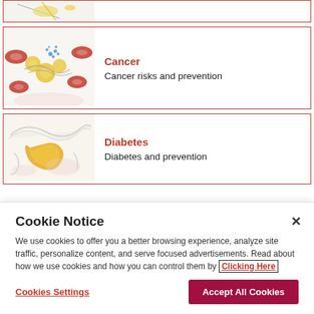[Figure (illustration): Partial view of a medical illustration card at top of page, partially cropped]
Cancer
Cancer risks and prevention
[Figure (illustration): Watercolor-style illustration of blood cells and other biological elements representing cancer]
Diabetes
Diabetes and prevention
[Figure (illustration): Watercolor-style illustration representing diabetes topics]
Cookie Notice
We use cookies to offer you a better browsing experience, analyze site traffic, personalize content, and serve focused advertisements. Read about how we use cookies and how you can control them by Clicking Here
Cookies Settings
Accept All Cookies